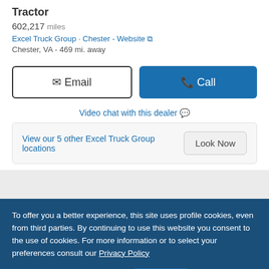Tractor
602,217 miles
Excel Truck Group · Chester - Website
Chester, VA - 469 mi. away
Email
Call
Video chat with this dealer
View our 5 other Excel Truck Group locations
Look Now
To offer you a better experience, this site uses profile cookies, even from third parties. By continuing to use this website you consent to the use of cookies. For more information or to select your preferences consult our Privacy Policy
Cookie Settings
OK